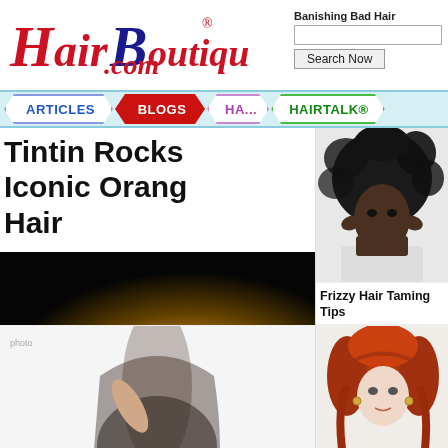[Figure (logo): HairBoutique.com logo in red and dark blue italic serif font with registered trademark symbol]
Banishing Bad Hair
[Figure (screenshot): Search input box and Search Now button]
[Figure (infographic): Navigation bar with tabs: ARTICLES (blue), BLOGS (red), HA... (purple), HAIRTALK® (green)]
Tintin Rocks Iconic Orang Hair
[Figure (photo): Movie still of Tintin character in dramatic scene with golden light]
[Figure (photo): Black and white photo of a woman with large afro hair holding her head]
Frizzy Hair Taming Tips
[Figure (photo): Photo of Ariana Grande with long blonde ponytail in glamorous pose]
Can Hair Extensions Lead To Hair Loss?
[Figure (photo): Photo of woman with dark hair partially visible at bottom]
[Figure (photo): Photo of young woman with red/auburn braided hair partially visible at bottom]